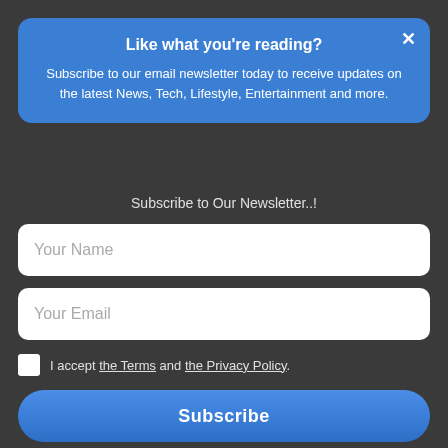Like what you're reading?
Subscribe to our email newsletter today to receive updates on the latest News, Tech, Lifestyle, Entertainment and more.
Subscribe to Our Newsletter..!
Your Name
Your Email
I accept the Terms and the Privacy Policy.
Subscribe
Studies have shown that Keto supplements for weight loss(K…) have a positive impact on people with epilepsy. It is offered as a treatment by the Stony Brook Medicine facility, home to Dr. Josephine
⚡ by Convertful